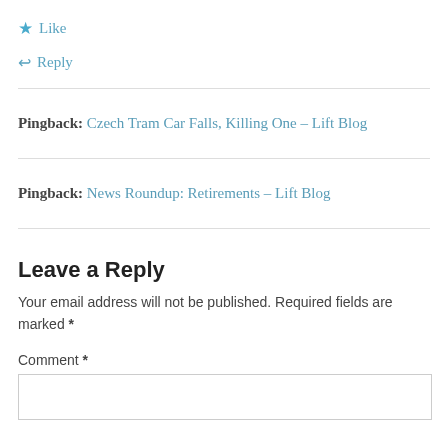★ Like
↩ Reply
Pingback: Czech Tram Car Falls, Killing One – Lift Blog
Pingback: News Roundup: Retirements – Lift Blog
Leave a Reply
Your email address will not be published. Required fields are marked *
Comment *